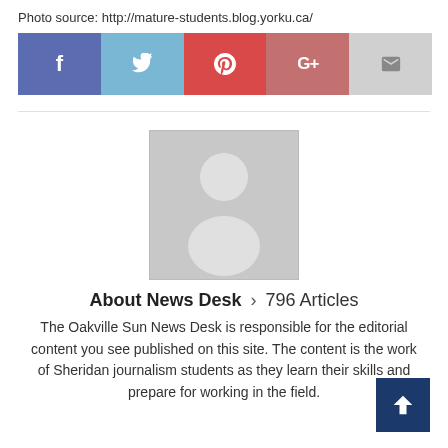Photo source: http://mature-students.blog.yorku.ca/
[Figure (other): Social media sharing buttons: Facebook (f), Twitter (bird icon), Pinterest (P), Google+ (G+), Email (envelope)]
[Figure (photo): Generic avatar placeholder image showing a grey silhouette of a person on a grey background]
About News Desk > 796 Articles
The Oakville Sun News Desk is responsible for the editorial content you see published on this site. The content is the work of Sheridan journalism students as they learn their skills and prepare for working in the field.